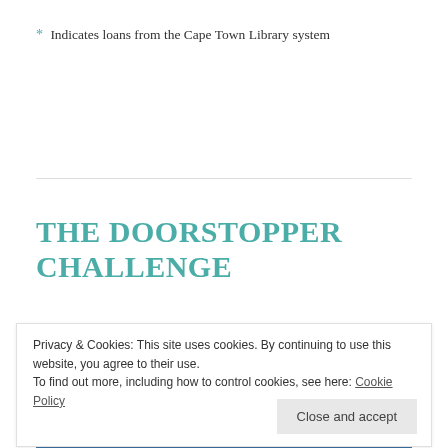* Indicates loans from the Cape Town Library system
THE DOORSTOPPER CHALLENGE
APRIL 10, 2022 ~ 6 COMMENTS
Privacy & Cookies: This site uses cookies. By continuing to use this website, you agree to their use.
To find out more, including how to control cookies, see here: Cookie Policy
Close and accept
[Figure (photo): Partial view of a blue-toned image at the bottom of the page]